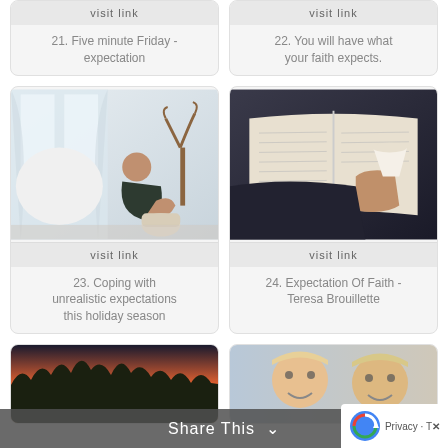visit link
visit link
21. Five minute Friday - expectation
22. You will have what your faith expects.
[Figure (photo): Woman sitting on floor in a bright room with knees drawn up, decorative deer figure in background]
visit link
[Figure (photo): Person holding a white cup while reading an open book]
visit link
23. Coping with unrealistic expectations this holiday season
24. Expectation Of Faith - Teresa Brouillette
[Figure (photo): Sunset over trees with silhouettes - bottom card left]
[Figure (photo): Two smiling children - bottom card right]
Share This